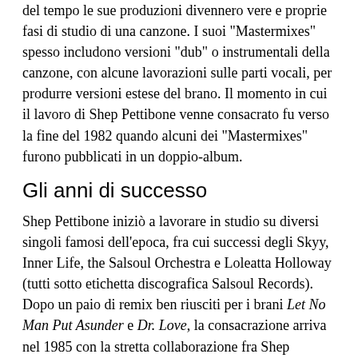del tempo le sue produzioni divennero vere e proprie fasi di studio di una canzone. I suoi "Mastermixes" spesso includono versioni "dub" o instrumentali della canzone, con alcune lavorazioni sulle parti vocali, per produrre versioni estese del brano. Il momento in cui il lavoro di Shep Pettibone venne consacrato fu verso la fine del 1982 quando alcuni dei "Mastermixes" furono pubblicati in un doppio-album.
Gli anni di successo
Shep Pettibone iniziò a lavorare in studio su diversi singoli famosi dell'epoca, fra cui successi degli Skyy, Inner Life, the Salsoul Orchestra e Loleatta Holloway (tutti sotto etichetta discografica Salsoul Records). Dopo un paio di remix ben riusciti per i brani Let No Man Put Asunder e Dr. Love, la consacrazione arriva nel 1985 con la stretta collaborazione fra Shep Pettibone e Madonna e i Pet Shop Boys. Anche i Level 42 vantano un brano remixato da Shep Pettibone: si tratta del "turnaround mix" di Something About You nel